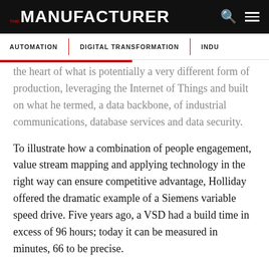THE MANUFACTURER
AUTOMATION | DIGITAL TRANSFORMATION | INDU
the heart of what is potentially a very different form of production, leveraging the Internet of Things and built on what he termed, a data backbone, of industrial communications, database services and data security.
To illustrate how a combination of people engagement, value stream mapping and applying technology in the right way can ensure competitive advantage, Holliday offered the dramatic example of a Siemens variable speed drive. Five years ago, a VSD had a build time in excess of 96 hours; today it can be measured in minutes, 66 to be precise.
Holliday closed his address with a question for attendees